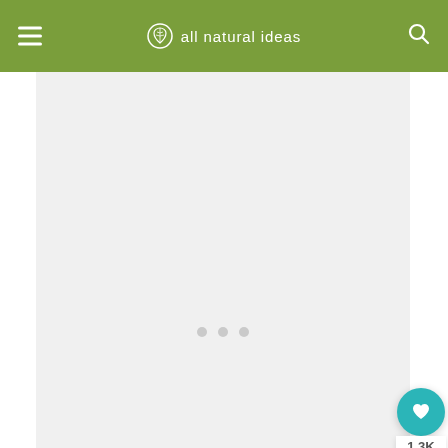all natural ideas
[Figure (other): Advertisement or image placeholder area with three light grey dots in the center, shown on a light grey background]
[Figure (other): Social sharing widget with a teal heart/like button showing 1.3K count and a share button below]
Any metal in your food products can be unhealthy. But, it also reduces the quality